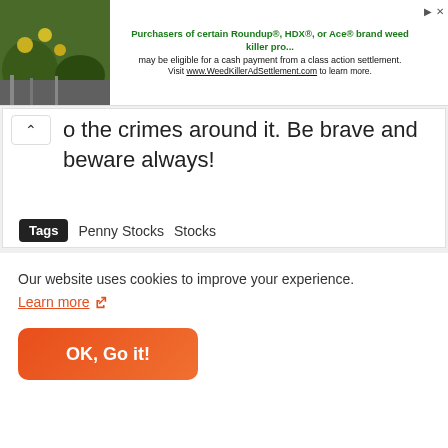[Figure (other): Advertisement banner with plant image and weed killer settlement text: 'Purchasers of certain Roundup®, HDX®, or Ace® brand weed killer pro... may be eligible for a cash payment from a class action settlement. Visit www.WeedKillerAdSettlement.com to learn more.']
o the crimes around it. Be brave and beware always!
Tags  Penny Stocks  Stocks
[Figure (other): Social share buttons: share icon, Facebook, Twitter, WhatsApp, and more (+)]
Our website uses cookies to improve your experience.
Learn more ↗
OK, Go it!